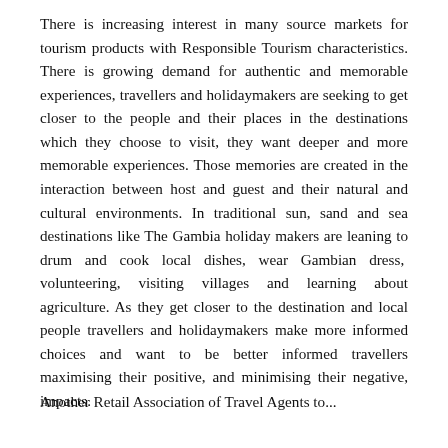There is increasing interest in many source markets for tourism products with Responsible Tourism characteristics. There is growing demand for authentic and memorable experiences, travellers and holidaymakers are seeking to get closer to the people and their places in the destinations which they choose to visit, they want deeper and more memorable experiences. Those memories are created in the interaction between host and guest and their natural and cultural environments. In traditional sun, sand and sea destinations like The Gambia holiday makers are leaning to drum and cook local dishes, wear Gambian dress, volunteering, visiting villages and learning about agriculture. As they get closer to the destination and local people travellers and holidaymakers make more informed choices and want to be better informed travellers maximising their positive, and minimising their negative, impacts.
Another Retail Association of Travel Agents to...